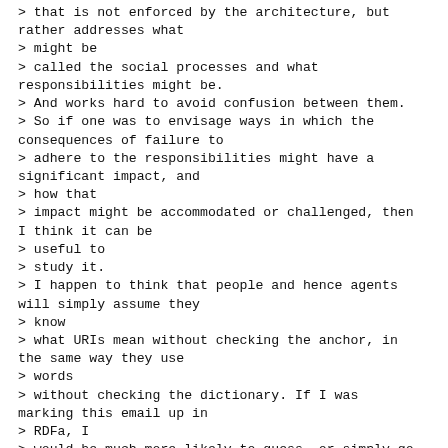> that is not enforced by the architecture, but rather addresses what
> might be
> called the social processes and what responsibilities might be.
> And works hard to avoid confusion between them.
> So if one was to envisage ways in which the consequences of failure to
> adhere to the responsibilities might have a significant impact, and
> how that
> impact might be accommodated or challenged, then I think it can be
> useful to
> study it.
> I happen to think that people and hence agents will simply assume they
> know
> what URIs mean without checking the anchor, in the same way they use
> words
> without checking the dictionary. If I was marking this email up in
> RDFa, I
> would be much more likely to guess, or simply go and use the URIs you had
> used to mark up your email, rather than check each one back at base - I
> would never be able to do anything if I checked